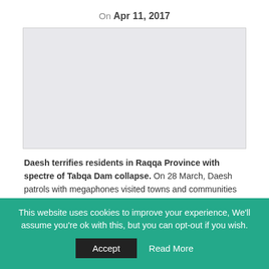On Apr 11, 2017
[Figure (photo): Empty/placeholder image area with light gray background and border]
Daesh terrifies residents in Raqqa Province with spectre of Tabqa Dam collapse. On 28 March, Daesh patrols with megaphones visited towns and communities west of Raqqa City in order to inform them that the Tabqa Dam was "almost certainly going to collapse" as a
This website uses cookies to improve your experience, We'll assume you're ok with this, but you can opt-out if you wish. Accept  Read More